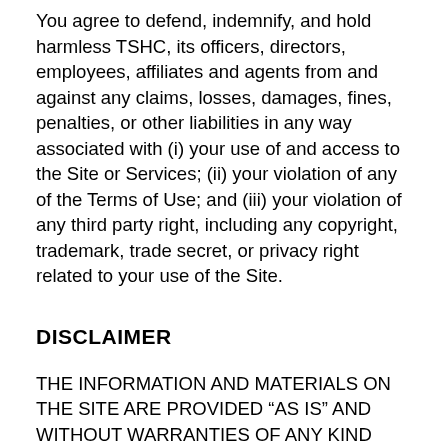You agree to defend, indemnify, and hold harmless TSHC, its officers, directors, employees, affiliates and agents from and against any claims, losses, damages, fines, penalties, or other liabilities in any way associated with (i) your use of and access to the Site or Services; (ii) your violation of any of the Terms of Use; and (iii) your violation of any third party right, including any copyright, trademark, trade secret, or privacy right related to your use of the Site.
DISCLAIMER
THE INFORMATION AND MATERIALS ON THE SITE ARE PROVIDED “AS IS” AND WITHOUT WARRANTIES OF ANY KIND EITHER EXPRESS OR IMPLIED. TO THE FULLEST EXTENT PERMISSIBLE PURSUANT TO APPLICABLE LAW, TSHC DISCLAIMS ALL WARRANTIES, EXPRESS OR IMPLIED, INCLUDING, BUT NOT LIMITED TO, IMPLIED WARRANTIES OF MERCHANTABILITY AND FITNESS FOR A